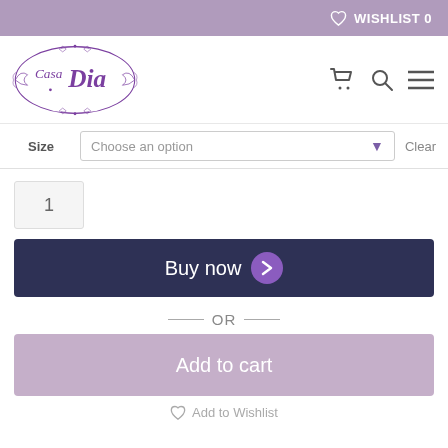WISHLIST 0
[Figure (logo): Casa Dia ornate purple logo with decorative frame]
Choose an option
Size
Clear
1
Buy now
— OR —
Add to cart
Add to Wishlist